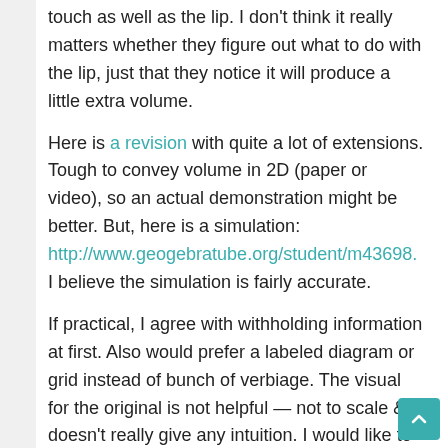touch as well as the lip. I don't think it really matters whether they figure out what to do with the lip, just that they notice it will produce a little extra volume.
Here is a revision with quite a lot of extensions. Tough to convey volume in 2D (paper or video), so an actual demonstration might be better. But, here is a simulation: http://www.geogebratube.org/student/m43698. I believe the simulation is fairly accurate.
If practical, I agree with withholding information at first. Also would prefer a labeled diagram or grid instead of bunch of verbiage. The visual for the original is not helpful — not to scale & doesn't really give any intuition. I would like to see more problems that differentiate within the